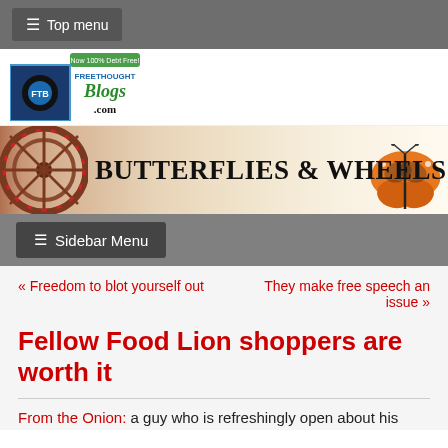≡ Top menu
[Figure (logo): Freethought Blogs logo with FTB circular emblem and '.com' text]
[Figure (illustration): Butterflies & Wheels banner with wooden wheel on left, title text in center, orange butterfly on right]
≡ Sidebar Menu
« Freedom to blot yourself out
They make free speech an issue »
Fellow Food Lion shoppers are worth it
From the Onion: a guy who is refreshingly open about his